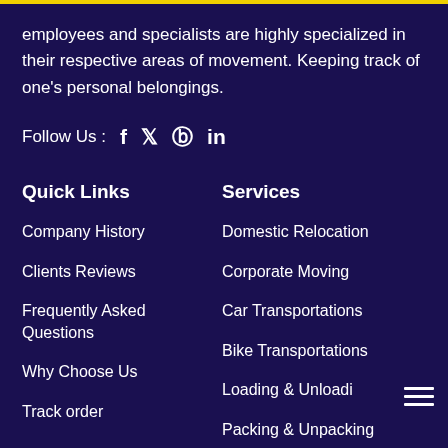employees and specialists are highly specialized in their respective areas of movement. Keeping track of one's personal belongings.
Follow Us : f 𝕏 ⊕ in
Quick Links
Services
Company History
Domestic Relocation
Clients Reviews
Corporate Moving
Frequently Asked Questions
Car Transportations
Bike Transportations
Why Choose Us
Loading & Unloadi
Track order
Packing & Unpacking